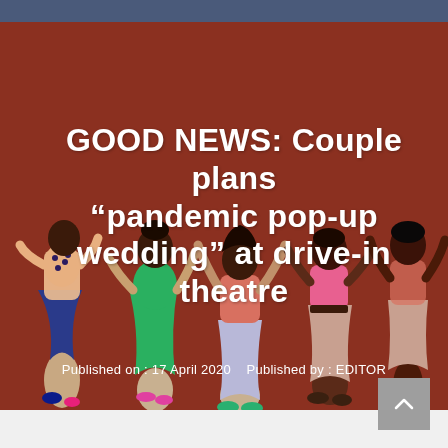[Figure (illustration): Illustrated group of five people dancing or celebrating against a dark red/terracotta background. The figures are drawn in a flat illustration style with diverse skin tones and colorful clothing.]
GOOD NEWS: Couple plans “pandemic pop-up wedding” at drive-in theatre
Published on : 17 April 2020    Published by : EDITOR